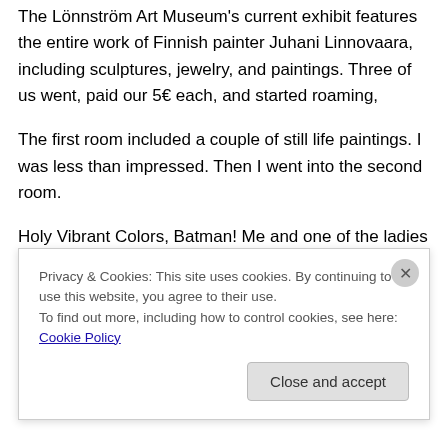The Lönnström Art Museum's current exhibit features the entire work of Finnish painter Juhani Linnovaara, including sculptures, jewelry, and paintings.  Three of us went, paid our 5€ each, and started roaming,
The first room included a couple of still life paintings.  I was less than impressed.  Then I went into the second room.
Holy Vibrant Colors, Batman!  Me and one of the ladies I was with were floored.  And in love.  Wow.  The pictures I
Privacy & Cookies: This site uses cookies. By continuing to use this website, you agree to their use.
To find out more, including how to control cookies, see here: Cookie Policy
Close and accept